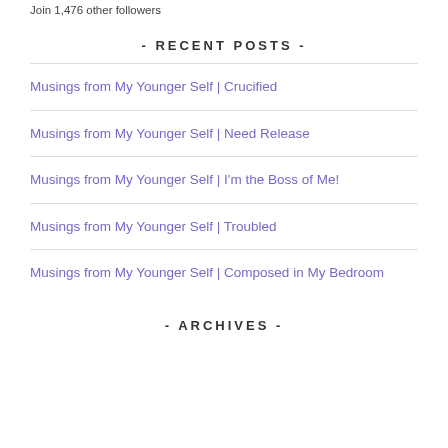Join 1,476 other followers
- RECENT POSTS -
Musings from My Younger Self | Crucified
Musings from My Younger Self | Need Release
Musings from My Younger Self | I'm the Boss of Me!
Musings from My Younger Self | Troubled
Musings from My Younger Self | Composed in My Bedroom
- ARCHIVES -